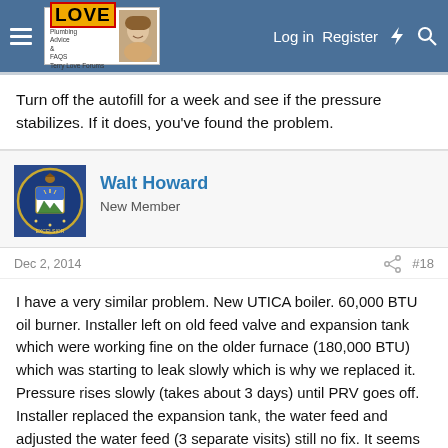Terry Love Plumbing Forums — Log in | Register
Turn off the autofill for a week and see if the pressure stabilizes. If it does, you've found the problem.
Walt Howard
New Member
Dec 2, 2014  #18
I have a very similar problem. New UTICA boiler. 60,000 BTU oil burner. Installer left on old feed valve and expansion tank which were working fine on the older furnace (180,000 BTU) which was starting to leak slowly which is why we replaced it. Pressure rises slowly (takes about 3 days) until PRV goes off. Installer replaced the expansion tank, the water feed and adjusted the water feed (3 separate visits) still no fix. It seems to me, the only way left of pressure getting into the boiler is through the domestic water coil. Water system is well pump with a 40/60 psi pressure tank setting. Temperature does not go above setting